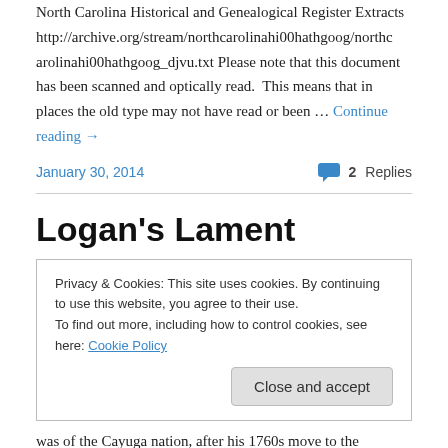North Carolina Historical and Genealogical Register Extracts http://archive.org/stream/northcarolinahi00hathgoog/northcarolinahi00hathgoog_djvu.txt Please note that this document has been scanned and optically read.  This means that in places the old type may not have read or been … Continue reading →
January 30, 2014
2 Replies
Logan's Lament
Privacy & Cookies: This site uses cookies. By continuing to use this website, you agree to their use.
To find out more, including how to control cookies, see here: Cookie Policy
Close and accept
was of the Cayuga nation, after his 1760s move to the